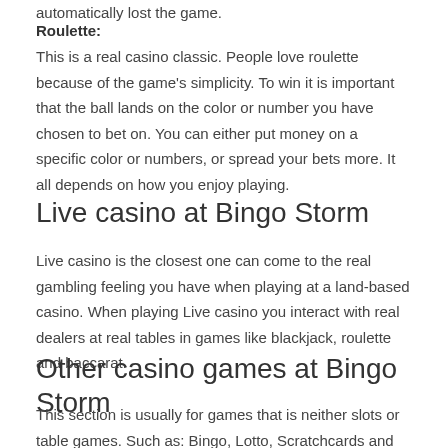automatically lost the game.
Roulette:
This is a real casino classic. People love roulette because of the game's simplicity. To win it is important that the ball lands on the color or number you have chosen to bet on. You can either put money on a specific color or numbers, or spread your bets more. It all depends on how you enjoy playing.
Live casino at Bingo Storm
Live casino is the closest one can come to the real gambling feeling you have when playing at a land-based casino. When playing Live casino you interact with real dealers at real tables in games like blackjack, roulette and baccarat.
Other casino games at Bingo Storm
This section is usually for games that is neither slots or table games. Such as: Bingo, Lotto, Scratchcards and Keno.